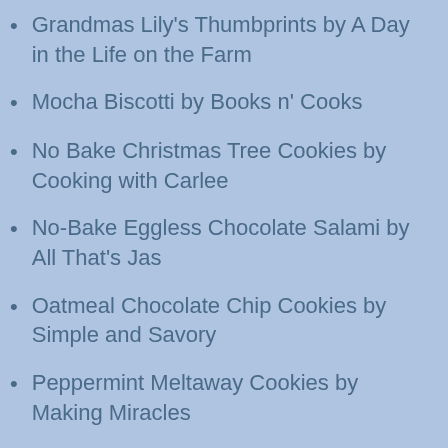Grandmas Lily's Thumbprints by A Day in the Life on the Farm
Mocha Biscotti by Books n' Cooks
No Bake Christmas Tree Cookies by Cooking with Carlee
No-Bake Eggless Chocolate Salami by All That's Jas
Oatmeal Chocolate Chip Cookies by Simple and Savory
Peppermint Meltaway Cookies by Making Miracles
Peppermint Sandies by Corn, Beans, Pigs and Kids
Strawberry Cake Mix Cookies by Soulfully Made
The Old Fashioned Cookie by Making the Most of Naptime